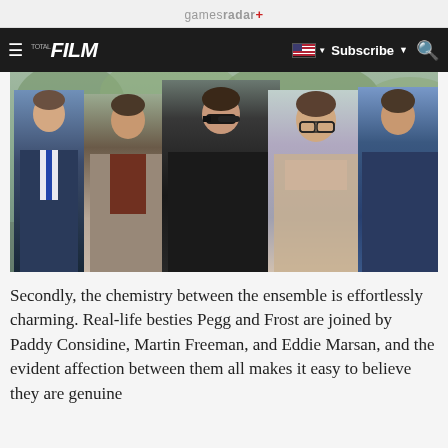gamesradar+
TOTAL FILM  Subscribe  [search]
[Figure (photo): Five men standing outdoors — Martin Freeman (suit, blue tie), Paddy Considine (beige jacket), Simon Pegg (black coat, sunglasses), Nick Frost (beige coat, glasses), Eddie Marsan (dark blue coat) — a scene from The World's End]
Secondly, the chemistry between the ensemble is effortlessly charming. Real-life besties Pegg and Frost are joined by Paddy Considine, Martin Freeman, and Eddie Marsan, and the evident affection between them all makes it easy to believe they are genuine